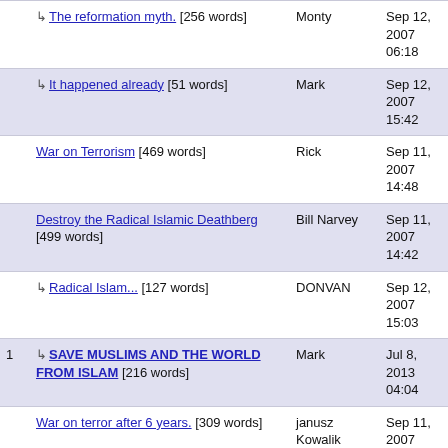|  | Title | Author | Date |
| --- | --- | --- | --- |
|  | ↳ The reformation myth. [256 words] | Monty | Sep 12, 2007 06:18 |
|  | ↳ It happened already [51 words] | Mark | Sep 12, 2007 15:42 |
|  | War on Terrorism [469 words] | Rick | Sep 11, 2007 14:48 |
|  | Destroy the Radical Islamic Deathberg [499 words] | Bill Narvey | Sep 11, 2007 14:42 |
|  | ↳ Radical Islam... [127 words] | DONVAN | Sep 12, 2007 15:03 |
| 1 | ↳ SAVE MUSLIMS AND THE WORLD FROM ISLAM [216 words] | Mark | Jul 8, 2013 04:04 |
|  | War on terror after 6 years. [309 words] | janusz Kowalik | Sep 11, 2007 14:27 |
|  | learning about islam [166 words] | G.Vishvas | Sep 11, 2007 13:51 |
|  | Eric Yoffe can be a little too... | Ken Besig | Sep 11 |